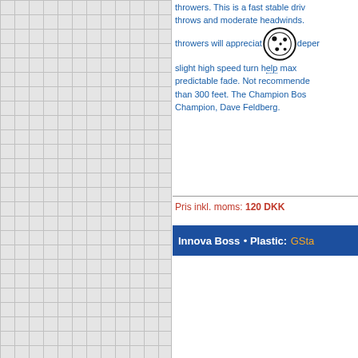throwers. This is a fast stable driver for power throws and moderate headwinds. Experienced throwers will appreciate the dependable slight high speed turn that maximizes predictable fade. Not recommended for less than 300 feet. The Champion Boss is the Champion, Dave Feldberg.
Pris inkl. moms: 120 DKK
Innova Boss  •  Plastic: GStar
Pris inkl. moms: 130 DKK
Innova Boss  •  Plastic: Pro
The Boss is a great disc choice for power throwers. This is a fast stable driver for throws and moderate headwinds.